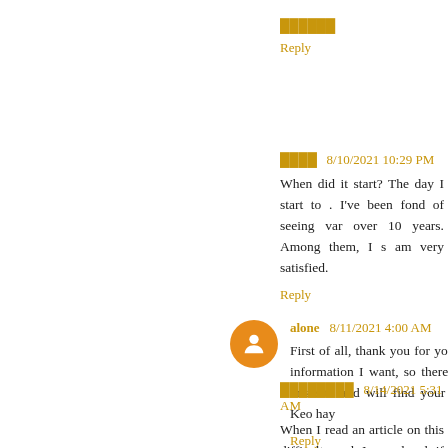██████
Reply
████  8/10/2021 10:29 PM
When did it start? The day I start to . I've been fond of seeing var over 10 years. Among them, I s am very satisfied.
Reply
alone  8/11/2021 4:00 AM
First of all, thank you for your p information I want, so there are this site and will find your pos Keo hay
Reply
████████  8/14/2021 5:31 AM
When I read an article on this difficult, and I wondered if other